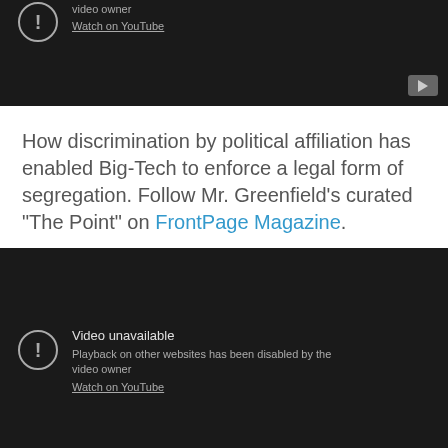[Figure (screenshot): YouTube video embed showing 'Video unavailable - Playback on other websites has been disabled by the video owner' message with Watch on YouTube link, dark background, top portion cropped]
How discrimination by political affiliation has enabled Big-Tech to enforce a legal form of segregation. Follow Mr. Greenfield's curated "The Point" on FrontPage Magazine.
[Figure (screenshot): YouTube video embed showing 'Video unavailable - Playback on other websites has been disabled by the video owner' message with Watch on YouTube link, dark background, full embed visible]